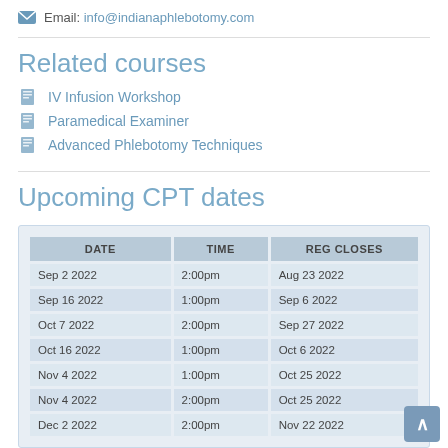Email: info@indianaphlebotomy.com
Related courses
IV Infusion Workshop
Paramedical Examiner
Advanced Phlebotomy Techniques
Upcoming CPT dates
| DATE | TIME | REG CLOSES |
| --- | --- | --- |
| Sep 2 2022 | 2:00pm | Aug 23 2022 |
| Sep 16 2022 | 1:00pm | Sep 6 2022 |
| Oct 7 2022 | 2:00pm | Sep 27 2022 |
| Oct 16 2022 | 1:00pm | Oct 6 2022 |
| Nov 4 2022 | 1:00pm | Oct 25 2022 |
| Nov 4 2022 | 2:00pm | Oct 25 2022 |
| Dec 2 2022 | 2:00pm | Nov 22 2022 |